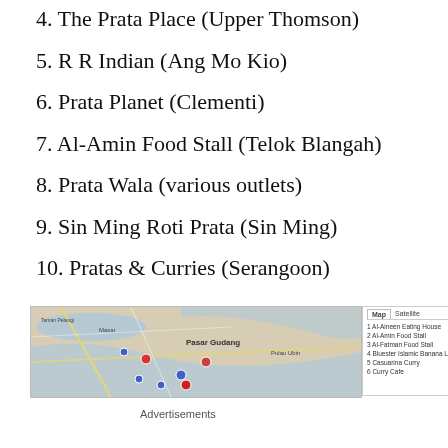4. The Prata Place (Upper Thomson)
5. R R Indian (Ang Mo Kio)
6. Prata Planet (Clementi)
7. Al-Amin Food Stall (Telok Blangah)
8. Prata Wala (various outlets)
9. Sin Ming Roti Prata (Sin Ming)
10. Pratas & Curries (Serangoon)
[Figure (map): Map of Singapore showing location pins for various prata restaurants, with a sidebar listing: 1 Al-Aineen Eating House, 2 Al-Amin Food Stall, 3 Al-Fatman Food Stall, 4 Bluester Islamic Banana Leaf Restaurant, 5 Casuarina Curry, 6 Curry Cafe]
Advertisements